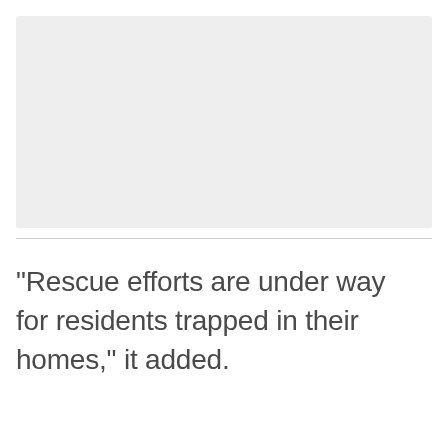[Figure (photo): Image placeholder, light gray background]
"Rescue efforts are under way for residents trapped in their homes," it added.